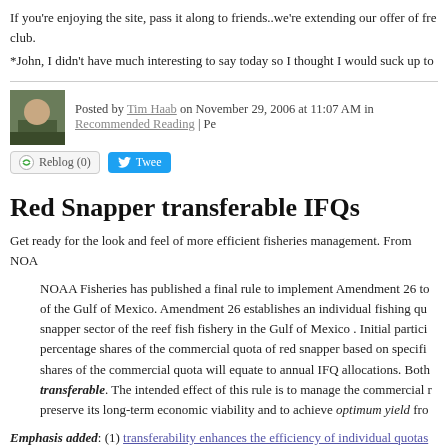If you're enjoying the site, pass it along to friends..we're extending our offer of fre club.
*John, I didn't have much interesting to say today so I thought I would suck up to
Posted by Tim Haab on November 29, 2006 at 11:07 AM in Recommended Reading | Pe
Reblog (0)  Tweet
Red Snapper transferable IFQs
Get ready for the look and feel of more efficient fisheries management. From NOA
NOAA Fisheries has published a final rule to implement Amendment 26 to of the Gulf of Mexico. Amendment 26 establishes an individual fishing qu snapper sector of the reef fish fishery in the Gulf of Mexico . Initial partici percentage shares of the commercial quota of red snapper based on specifi shares of the commercial quota will equate to annual IFQ allocations. Both transferable. The intended effect of this rule is to manage the commercial r preserve its long-term economic viability and to achieve optimum yield fro
Emphasis added: (1) transferability enhances the efficiency of individual quotas [t http://ifq.sero.nmfs.noaa.gov. Check it out sometime in 2007], (2) optimum yield m profit) from the fishery. This is, typically, a more conservative managment plan tha (which maximizes revenues, ignoring cost).
Continue reading "Red Snapper transferable IFQs" »